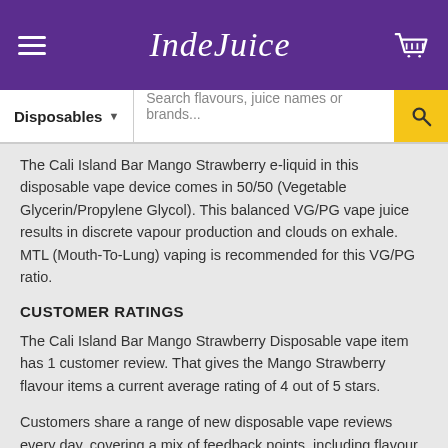IndeJuice
Disposables   Search flavours, juice names or brands...
The Cali Island Bar Mango Strawberry e-liquid in this disposable vape device comes in 50/50 (Vegetable Glycerin/Propylene Glycol). This balanced VG/PG vape juice results in discrete vapour production and clouds on exhale. MTL (Mouth-To-Lung) vaping is recommended for this VG/PG ratio.
CUSTOMER RATINGS
The Cali Island Bar Mango Strawberry Disposable vape item has 1 customer review. That gives the Mango Strawberry flavour items a current average rating of 4 out of 5 stars.
Customers share a range of new disposable vape reviews every day, covering a mix of feedback points, including flavour profile, brand, taste quality, nicotine strengths, price and device features. All disposable reviews are then also used to rate the respective brands of the disposables.